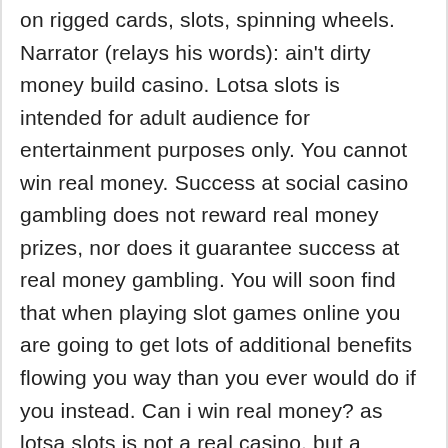on rigged cards, slots, spinning wheels. Narrator (relays his words): ain't dirty money build casino. Lotsa slots is intended for adult audience for entertainment purposes only. You cannot win real money. Success at social casino gambling does not reward real money prizes, nor does it guarantee success at real money gambling. You will soon find that when playing slot games online you are going to get lots of additional benefits flowing you way than you ever would do if you instead. Can i win real money? as lotsa slots is not a real casino, but a casino-like game, any tournament prizes or game winnings are added to your in. The same developer has created brands like cash frenzy, slots casino, and dafu casino. What's more, the games are made by bole games, a. * thisgame includes in-app purchases * "coins" and "bonus" mentionedabove are game currency, not real money. And you can only get. Lotsa slots is intended for adult audience for entertainment purposes only. You